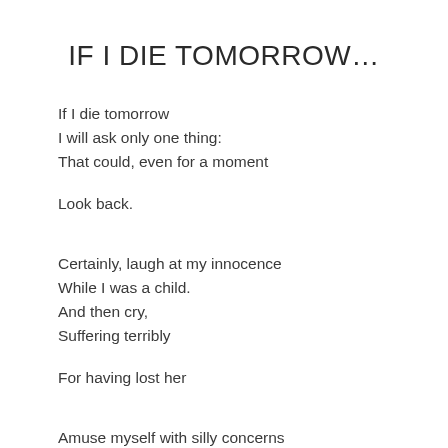IF I DIE TOMORROW…
If I die tomorrow
I will ask only one thing:
That could, even for a moment

Look back.


Certainly, laugh at my innocence
While I was a child.
And then cry,
Suffering terribly

For having lost her


Amuse myself with silly concerns
That plagued my adolescence.
And I'll feel a desire terrifying